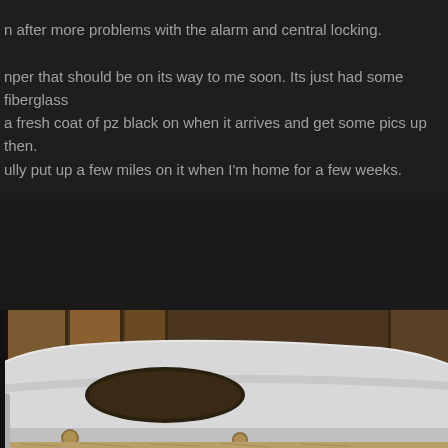n after more problems with the alarm and central locking.

nper that should be on its way to me soon. Its just had some fiberglass a fresh coat of pz black on when it arrives and get some pics up then. ully put up a few miles on it when I'm home for a few weeks.
[Figure (photo): A white fiberglass car bumper leaning against a wooden fence/shed. The bumper is a custom piece with an oval cutout opening, photographed outdoors against vertical wooden boards.]